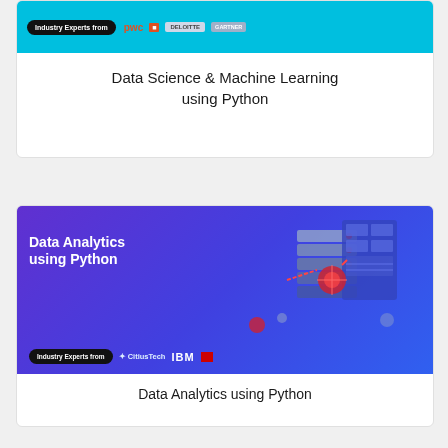[Figure (illustration): Course card banner for Data Science & Machine Learning using Python, light blue background with 'Industry Experts from' badge and logos for PwC and other companies]
Data Science & Machine Learning using Python
[Figure (illustration): Course card banner for Data Analytics using Python, purple-blue gradient background with bold white text 'Data Analytics using Python', isometric data/tech illustration, 'Industry Experts from' badge with CitiusTech, IBM logos]
Data Analytics using Python